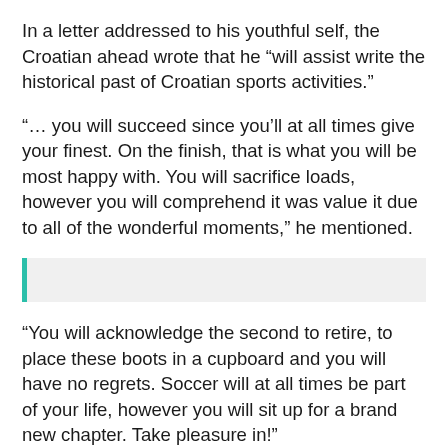In a letter addressed to his youthful self, the Croatian ahead wrote that he “will assist write the historical past of Croatian sports activities.”
“… you will succeed since you’ll at all times give your finest. On the finish, that is what you will be most happy with. You will sacrifice loads, however you will comprehend it was value it due to all of the wonderful moments,” he mentioned.
“You will acknowledge the second to retire, to place these boots in a cupboard and you will have no regrets. Soccer will at all times be part of your life, however you will sit up for a brand new chapter. Take pleasure in!”